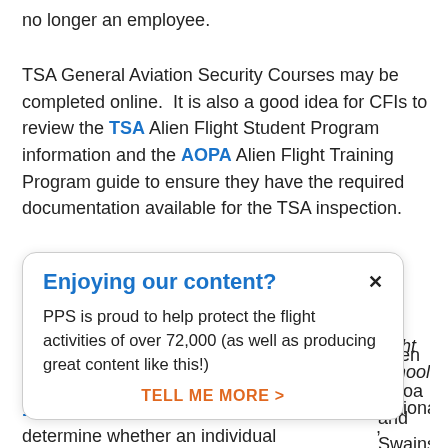no longer an employee.
TSA General Aviation Security Courses may be completed online. It is also a good idea for CFIs to review the TSA Alien Flight Student Program information and the AOPA Alien Flight Training Program guide to ensure they have the required documentation available for the TSA inspection.
[Figure (screenshot): Popup overlay with title 'Enjoying our content?', close button (x), body text 'PPS is proud to help protect the flight activities of over 72,000 (as well as producing great content like this!)', and a call-to-action link 'TELL ME MORE >']
the flight school
citizen or national.
amoa and Swains
, rather than U.S.
U.S. citizen/national exemption: 49 CFR 1552.3(h) provides that flight schools must determine whether an individual is a U.S. citizen or national prior to providing flight training to the individual. Flight schools must maintain (for five years)